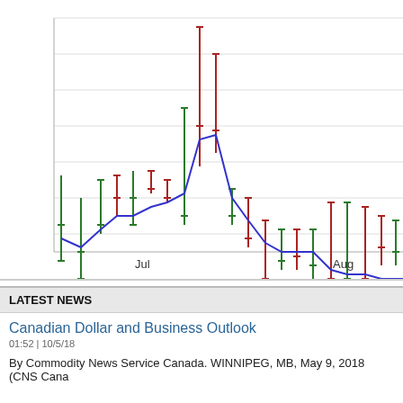[Figure (continuous-plot): Candlestick chart (OHLC bars in green and red) with a blue moving average line overlay, showing price data from approximately July to August. The chart is partially cropped — x-axis labels show 'Jul' and 'Aug'. Green bars indicate up days, red bars indicate down days. A blue line trends from mid-chart upper area downward then stabilizes toward the right.]
LATEST NEWS
Canadian Dollar and Business Outlook
01:52 | 10/5/18
By Commodity News Service Canada. WINNIPEG, MB, May 9, 2018 (CNS Cana